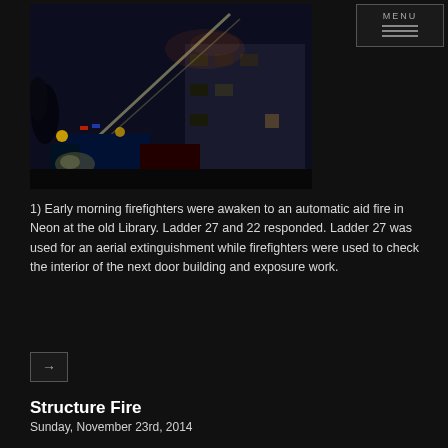[Figure (photo): Nighttime fire scene showing a ladder truck with an aerial ladder extended toward a multi-story building, with emergency vehicles and lights visible in the dark.]
1) Early morning firefighters were awaken to an automatic aid fire in Neon at the old Library. Ladder 27 and 22 responded. Ladder 27 was used for an aerial extinguishment while firefighters were used to check the interior of the next door building and exposure work.
Structure Fire
Sunday, November 23rd, 2014
Early morning fire in Marshals Branch brought Jenkins and automatic aid from Neon Fire Dept. On arrival, one structure was fully involved and a garage had one fire on one side and the back hillside on fire.